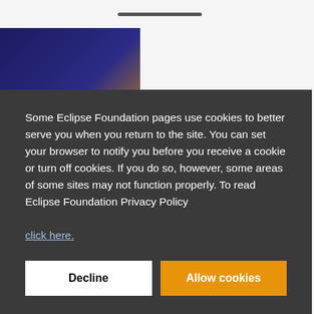[Figure (photo): Partial view of a person working at a computer with dark blue and orange graphic overlay, cropped at top-left]
rget
nder of
Some Eclipse Foundation pages use cookies to better serve you when you return to the site. You can set your browser to notify you before you receive a cookie or turn off cookies. If you do so, however, some areas of some sites may not function properly. To read Eclipse Foundation Privacy Policy
click here.
Decline
Allow cookies
[Figure (photo): Partial bottom strip showing a small image, partially visible]